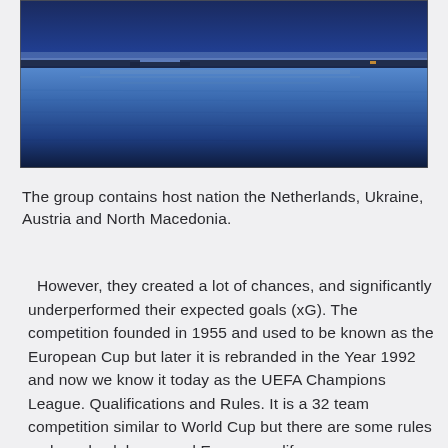[Figure (photo): A wide panoramic landscape photo of a calm lake or sea at dusk/twilight, with deep blue water reflecting a pale sky, dark treeline or land silhouette on the horizon.]
The group contains host nation the Netherlands, Ukraine, Austria and North Macedonia.
However, they created a lot of chances, and significantly underperformed their expected goals (xG). The competition founded in 1955 and used to be known as the European Cup but later it is rebranded in the Year 1992 and now we know it today as the UEFA Champions League. Qualifications and Rules. It is a 32 team competition similar to World Cup but there are some rules on how do clubs around Europe qualify